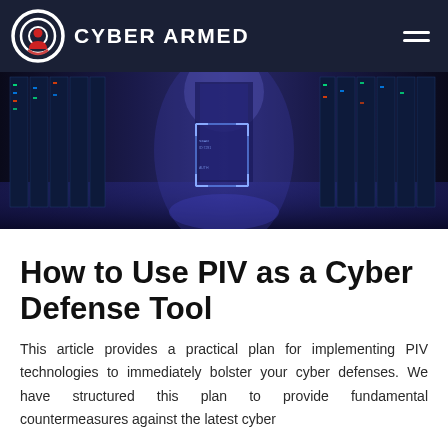CYBER ARMED
[Figure (photo): Data center corridor with tall server racks illuminated in blue/purple light, with a fingerprint biometric scan overlay in the center]
How to Use PIV as a Cyber Defense Tool
This article provides a practical plan for implementing PIV technologies to immediately bolster your cyber defenses. We have structured this plan to provide fundamental countermeasures against the latest cyber